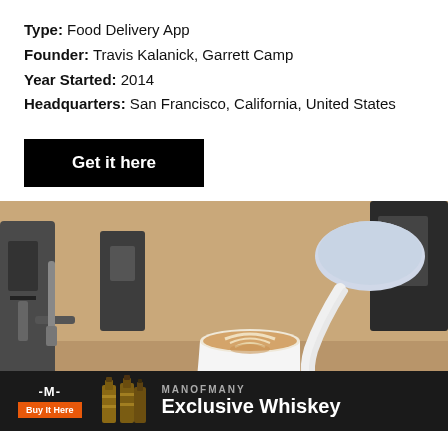Type: Food Delivery App
Founder: Travis Kalanick, Garrett Camp
Year Started: 2014
Headquarters: San Francisco, California, United States
Get it here
[Figure (photo): A hand holding a white paper cup of latte art coffee, with a barista pouring steamed milk from a metal pitcher. Espresso machine visible in background.]
[Figure (infographic): Advertisement banner: ManOfMany Exclusive Whiskey with buy button and whiskey bottle images]